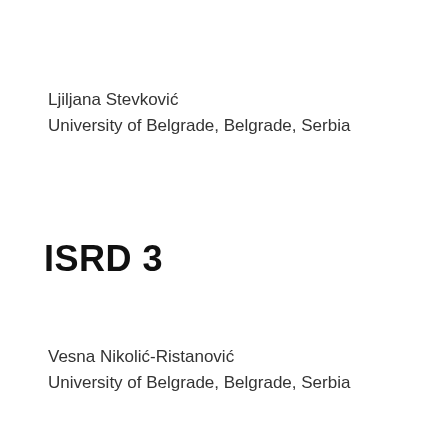Ljiljana Stevković
University of Belgrade, Belgrade, Serbia
ISRD 3
Vesna Nikolić-Ristanović
University of Belgrade, Belgrade, Serbia